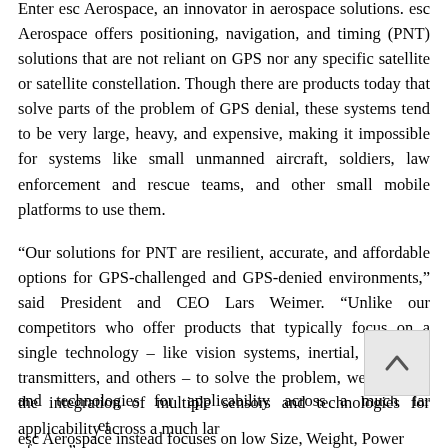Enter esc Aerospace, an innovator in aerospace solutions. esc Aerospace offers positioning, navigation, and timing (PNT) solutions that are not reliant on GPS nor any specific satellite or satellite constellation. Though there are products today that solve parts of the problem of GPS denial, these systems tend to be very large, heavy, and expensive, making it impossible for systems like small unmanned aircraft, soldiers, law enforcement and rescue teams, and other small mobile platforms to use them.
“Our solutions for PNT are resilient, accurate, and affordable options for GPS-challenged and GPS-denied environments,” said President and CEO Lars Weimer. “Unlike our competitors who offer products that typically focus on a single technology – like vision systems, inertial, terrestrial transmitters, and others – to solve the problem, we focus on the integration of multiple sensors and technologies for applicability across a much larger set of uses.”
esc Aerospace instead focuses on low Size, Weight, Power...